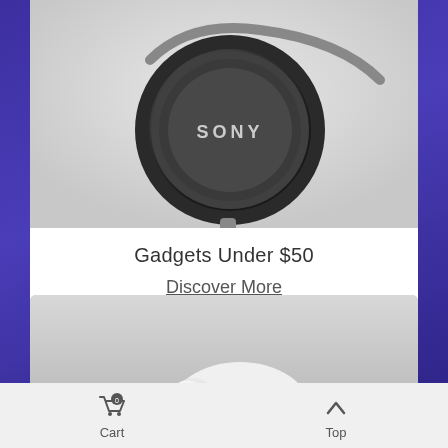[Figure (photo): Sony over-ear headphone in dark gray/black color, showing the ear cup with SONY branding, shot against a light gray/white background]
Gadgets Under $50
Discover More
[Figure (photo): White wireless earbuds or audio device against a light gray background, partially visible at bottom of card]
Cart  Top